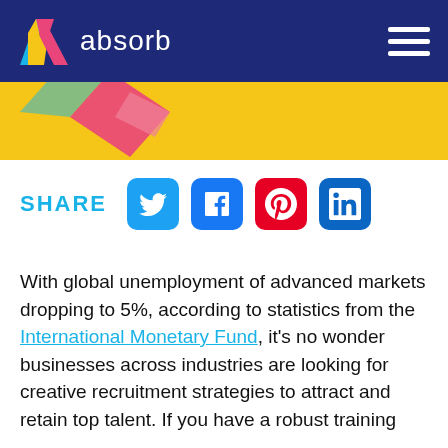absorb
[Figure (illustration): Yellow banner with decorative colored geometric shapes (pink/magenta and yellow) from the Absorb logo style]
SHARE
[Figure (infographic): Social media share buttons: Twitter (blue bird), Facebook (blue f), Pinterest (red P), LinkedIn (blue in)]
With global unemployment of advanced markets dropping to 5%, according to statistics from the International Monetary Fund, it's no wonder businesses across industries are looking for creative recruitment strategies to attract and retain top talent. If you have a robust training